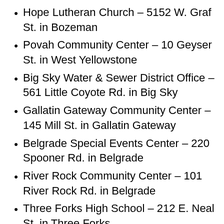Hope Lutheran Church – 5152 W. Graf St. in Bozeman
Povah Community Center – 10 Geyser St. in West Yellowstone
Big Sky Water & Sewer District Office – 561 Little Coyote Rd. in Big Sky
Gallatin Gateway Community Center – 145 Mill St. in Gallatin Gateway
Belgrade Special Events Center – 220 Spooner Rd. in Belgrade
River Rock Community Center – 101 River Rock Rd. in Belgrade
Three Forks High School – 212 E. Neal St. in Three Forks
Manhattan Christian School – 8000 Churchill Rd. in Churchill